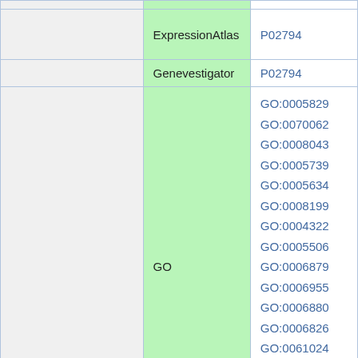|  | Database | Accession |
| --- | --- | --- |
|  | ExpressionAtlas | P02794 |
|  | Genevestigator | P02794 |
|  | GO | GO:0005829
GO:0070062
GO:0008043
GO:0005739
GO:0005634
GO:0008199
GO:0004322
GO:0005506
GO:0006879
GO:0006955
GO:0006880
GO:0006826
GO:0061024
GO:0008285
GO:0048147
GO:0006892
GO:0055085 |